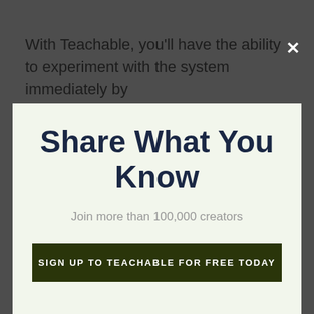With Teachable, you'll have the ability to experiment with the system immediately by
Share What You Know
Join more than 100,000 creators
SIGN UP TO TEACHABLE FOR FREE TODAY
additionally b sonalize your students' experience by utilizing the power editor to establish appealing lectures, training sessions,
No thanks, I'm not interested!